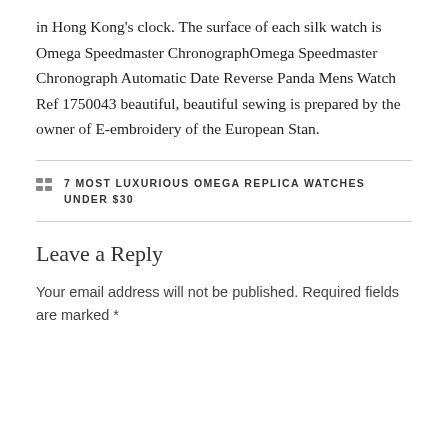in Hong Kong's clock. The surface of each silk watch is Omega Speedmaster ChronographOmega Speedmaster Chronograph Automatic Date Reverse Panda Mens Watch Ref 1750043 beautiful, beautiful sewing is prepared by the owner of E-embroidery of the European Stan.
7 MOST LUXURIOUS OMEGA REPLICA WATCHES UNDER $30
Leave a Reply
Your email address will not be published. Required fields are marked *